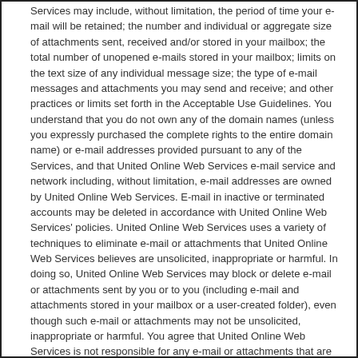Services may include, without limitation, the period of time your e-mail will be retained; the number and individual or aggregate size of attachments sent, received and/or stored in your mailbox; the total number of unopened e-mails stored in your mailbox; limits on the text size of any individual message size; the type of e-mail messages and attachments you may send and receive; and other practices or limits set forth in the Acceptable Use Guidelines. You understand that you do not own any of the domain names (unless you expressly purchased the complete rights to the entire domain name) or e-mail addresses provided pursuant to any of the Services, and that United Online Web Services e-mail service and network including, without limitation, e-mail addresses are owned by United Online Web Services. E-mail in inactive or terminated accounts may be deleted in accordance with United Online Web Services' policies. United Online Web Services uses a variety of techniques to eliminate e-mail or attachments that United Online Web Services believes are unsolicited, inappropriate or harmful. In doing so, United Online Web Services may block or delete e-mail or attachments sent by you or to you (including e-mail and attachments stored in your mailbox or a user-created folder), even though such e-mail or attachments may not be unsolicited, inappropriate or harmful. You agree that United Online Web Services is not responsible for any e-mail or attachments that are blocked or deleted for any reason and that you have no right, and United Online Web Services has no obligation, to retrieve or access any such deleted or blocked e-mail or attachments. You understand that unless otherwise specified in your service level or plan terms, United Online Web Services does not utilize anti-virus software or services to scan for viruses. If your service level or plan terms